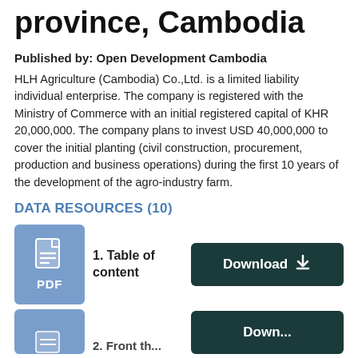province, Cambodia
Published by: Open Development Cambodia
HLH Agriculture (Cambodia) Co.,Ltd. is a limited liability individual enterprise. The company is registered with the Ministry of Commerce with an initial registered capital of KHR 20,000,000. The company plans to invest USD 40,000,000 to cover the initial planting (civil construction, procurement, production and business operations) during the first 10 years of the development of the agro-industry farm.
DATA RESOURCES (10)
1. Table of content
Download